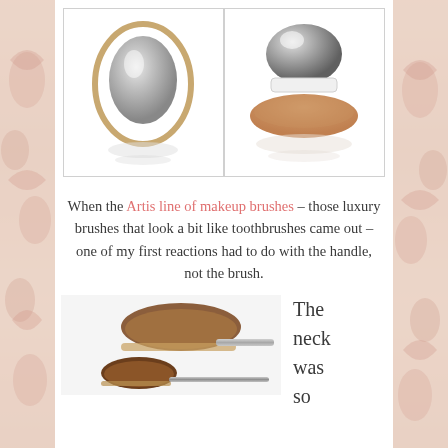[Figure (photo): Artis oval makeup brush with silver metallic finish inside a gold oval frame, shown with reflection, on white background]
[Figure (photo): Round compact makeup brush with silver/chrome dome top and white band, tan bristles fanning out at base, shown on white background]
When the Artis line of makeup brushes – those luxury brushes that look a bit like toothbrushes came out – one of my first reactions had to do with the handle, not the brush.
[Figure (photo): Two Artis oval makeup brushes with brown bristles and silver metallic handles on white background]
The neck was so